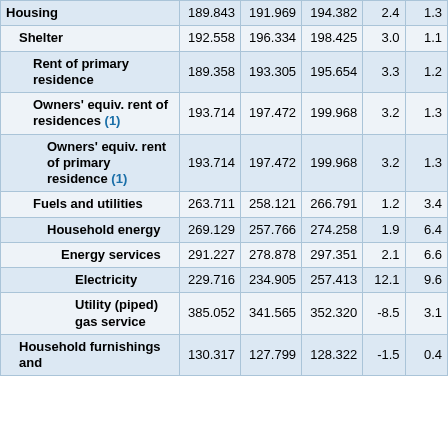| Category | Col1 | Col2 | Col3 | Chg1 | Chg2 |
| --- | --- | --- | --- | --- | --- |
| Housing | 189.843 | 191.969 | 194.382 | 2.4 | 1.3 |
| Shelter | 192.558 | 196.334 | 198.425 | 3.0 | 1.1 |
| Rent of primary residence | 189.358 | 193.305 | 195.654 | 3.3 | 1.2 |
| Owners' equiv. rent of residences (1) | 193.714 | 197.472 | 199.968 | 3.2 | 1.3 |
| Owners' equiv. rent of primary residence (1) | 193.714 | 197.472 | 199.968 | 3.2 | 1.3 |
| Fuels and utilities | 263.711 | 258.121 | 266.791 | 1.2 | 3.4 |
| Household energy | 269.129 | 257.766 | 274.258 | 1.9 | 6.4 |
| Energy services | 291.227 | 278.878 | 297.351 | 2.1 | 6.6 |
| Electricity | 229.716 | 234.905 | 257.413 | 12.1 | 9.6 |
| Utility (piped) gas service | 385.052 | 341.565 | 352.320 | -8.5 | 3.1 |
| Household furnishings and ... | 130.317 | 127.799 | 128.322 | -1.5 | 0.4 |